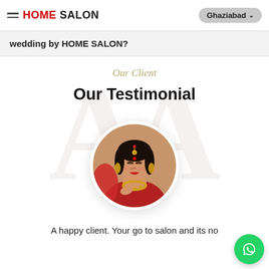HOME SALON | Ghaziabad
wedding by HOME SALON?
Our Client
Our Testimonial
[Figure (photo): Circular portrait photo of a bride in traditional Indian wedding attire with red outfit, gold jewellery, and bridal makeup, smiling]
A happy client. Your go to salon and its no